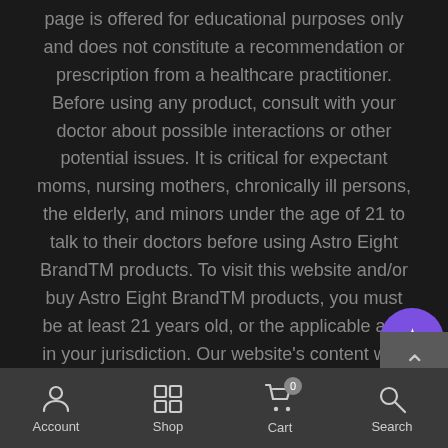page is offered for educational purposes only and does not constitute a recommendation or prescription from a healthcare practitioner. Before using any product, consult with your doctor about possible interactions or other potential issues. It is critical for expectant moms, nursing mothers, chronically ill persons, the elderly, and minors under the age of 21 to talk to their doctors before using Astro Eight BrandTM products. To visit this website and/or buy Astro Eight BrandTM products, you must be at least 21 years old, or the applicable age in your jurisdiction. Our website's content was developed to offer general information about our product or topic and is not meant to be medical advice or counseling. Astro Eight BrandTM...
Account | Shop | Cart (0) | Search